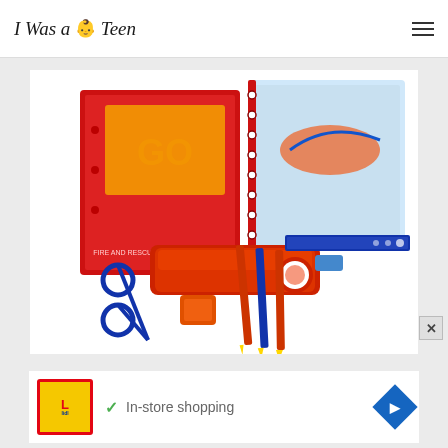I Was a Teen
[Figure (photo): Disney Planes Fire & Rescue stationery set including notebooks, pencil case, scissors, pencils, sharpener, eraser, ruler, and sharpener on white background]
[Figure (infographic): Advertisement banner for Lidl In-store shopping with checkmark, Lidl logo, and blue diamond navigation arrow]